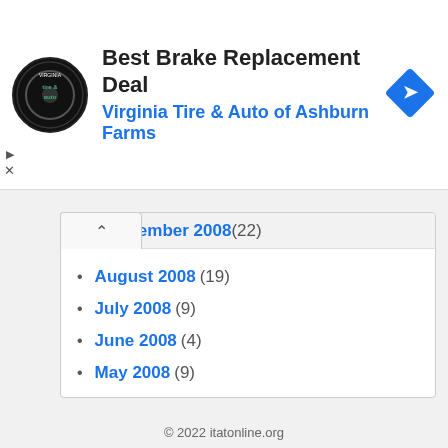[Figure (logo): Virginia Tire & Auto circular logo with tire and auto text]
Best Brake Replacement Deal
Virginia Tire & Auto of Ashburn Farms
[Figure (illustration): Blue diamond-shaped navigation arrow icon]
September 2008 (22)
August 2008 (19)
July 2008 (9)
June 2008 (4)
May 2008 (9)
April 2008 (12)
March 2008 (9)
February 2008 (19)
January 2008 (13)
© 2022 itatonline.org